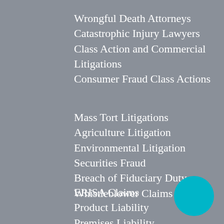Wrongful Death Attorneys
Catastrophic Injury Lawyers
Class Action and Commercial Litigations
Consumer Fraud Class Actions
Mass Tort Litigations
Agriculture Litigation
Environmental Litigation
Securities Fraud
Breach of Fiduciary Duty
Whistleblower Claims
ERISA Claims
Product Liability
Premises Liability
[Figure (illustration): Teal/cyan circle decoration in lower right corner]